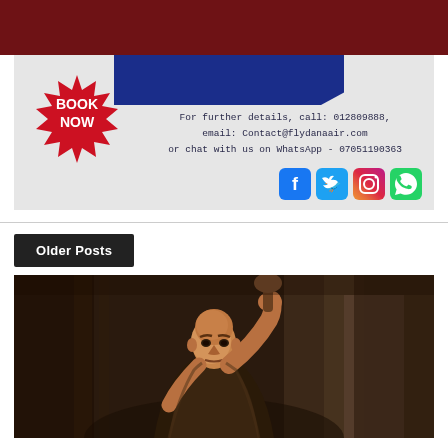[Figure (infographic): Dana Air advertisement banner with dark red background, grey ad box containing a 'BOOK NOW' badge, blue shape, contact details, and social media icons for Facebook, Twitter, Instagram, WhatsApp]
For further details, call: 012809888, email: Contact@flydanaair.com or chat with us on WhatsApp - 07051190363
Older Posts
[Figure (photo): A bald man with an intense expression holding what appears to be a weapon, dressed in dark medieval or warrior-style clothing, photographed against a dark background with wooden bars]